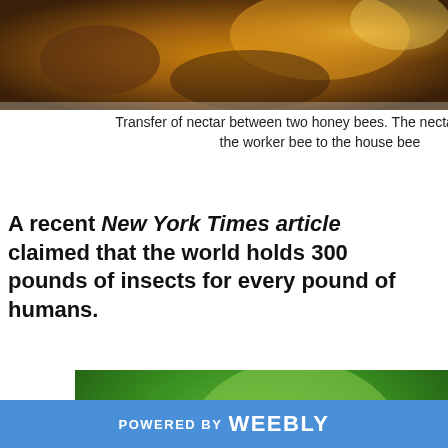[Figure (photo): Close-up photo of honey bees, warm amber/golden tones, cropped at top of page]
Transfer of nectar between two honey bees. The nectar goes from the worker bee to the house bee
A recent New York Times article claimed that the world holds 300 pounds of insects for every pound of humans.
[Figure (photo): Close-up macro photo of a snail on green leaves with blurred green background]
POWERED BY weebly